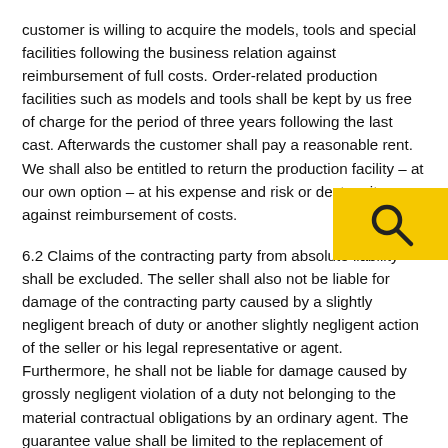customer is willing to acquire the models, tools and special facilities following the business relation against reimbursement of full costs. Order-related production facilities such as models and tools shall be kept by us free of charge for the period of three years following the last cast. Afterwards the customer shall pay a reasonable rent. We shall also be entitled to return the production facility – at our own option – at his expense and risk or destroy it against reimbursement of costs.
6.2 Claims of the contracting party from absolute liability shall be excluded. The seller shall also not be liable for damage of the contracting party caused by a slightly negligent breach of duty or another slightly negligent action of the seller or his legal representative or agent. Furthermore, he shall not be liable for damage caused by grossly negligent violation of a duty not belonging to the material contractual obligations by an ordinary agent. The guarantee value shall be limited to the replacement of damage that typically occurs with the business in question.